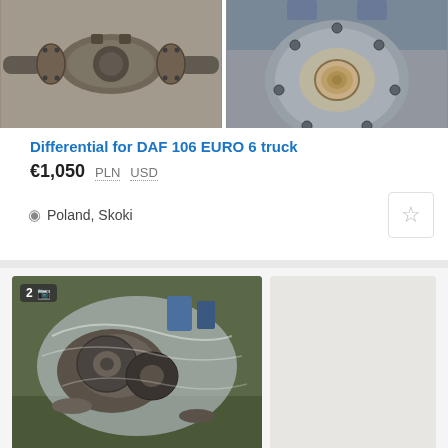[Figure (photo): Two photos of a truck differential for DAF 106 EURO 6, shown side by side. Left photo shows full differential axle assembly from above. Right photo shows close-up of differential end face with mounting flange.]
Differential for DAF 106 EURO 6 truck
€1,050  PLN  USD
Poland, Skoki
[Figure (photo): Photo of used truck parts in a plastic bag, including what appears to be brake discs or similar metal components, placed on grass. Badge showing '2' photos with camera icon. Second slot is blank/empty.]